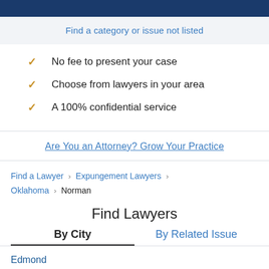Find a category or issue not listed
No fee to present your case
Choose from lawyers in your area
A 100% confidential service
Are You an Attorney? Grow Your Practice
Find a Lawyer > Expungement Lawyers > Oklahoma > Norman
Find Lawyers
By City | By Related Issue
Edmond